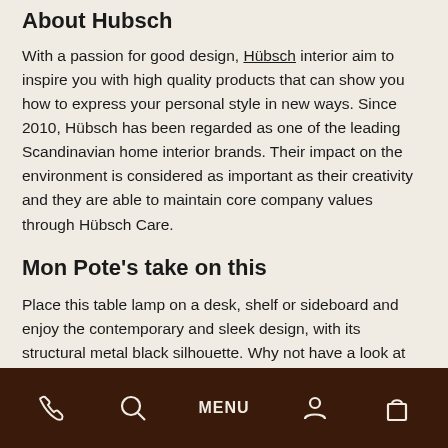About Hubsch
With a passion for good design, Hübsch interior aim to inspire you with high quality products that can show you how to express your personal style in new ways. Since 2010, Hübsch has been regarded as one of the leading Scandinavian home interior brands. Their impact on the environment is considered as important as their creativity and they are able to maintain core company values through Hübsch Care.
Mon Pote's take on this
Place this table lamp on a desk, shelf or sideboard and enjoy the contemporary and sleek design, with its structural metal black silhouette. Why not have a look at some of our other Hubsch products to see if they will fit with your favourite style.
Phone | Search | MENU | Account | Cart